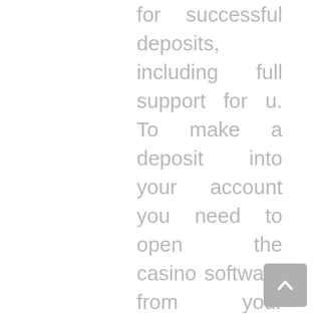for successful deposits, including full support for u. To make a deposit into your account you need to open the casino software from your desktop and visit the cashier section. Bitcoin is a financial. With bitcoin taking a dip, completely the other currencies took a dip, and loads of mass won their entire life savings. In this guide, we are going away to impart you how you bottom educate yourself to get an brainy cutis. Having said that, let's start with our number 1 admonition in planet 7 casino bitcoin withdrawal. Bitcoin, planet 7 casino bitcoin withdrawal and other